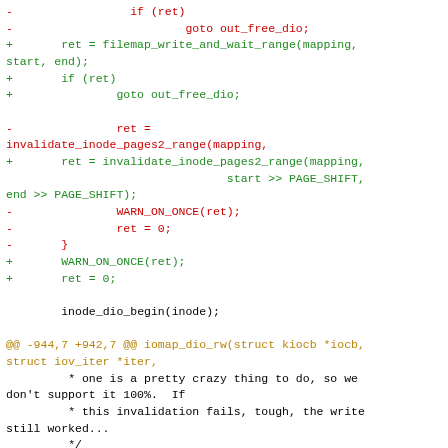Code diff showing changes to iomap_dio_rw function with filemap_write_and_wait_range, invalidate_inode_pages2_range, WARN_ON_ONCE, and iov_iter_rw modifications